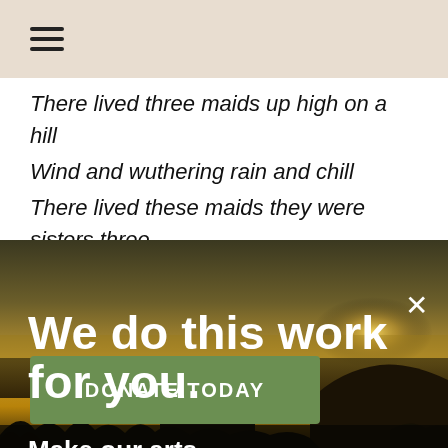≡
There lived three maids up high on a hill
Wind and wuthering rain and chill
There lived these maids they were sisters three
[Figure (photo): Coastal sunset scene with dark silhouette of rocky headland and vegetation against golden sky, forming the background of an advertisement overlay]
We do this work for you.
Make our arts journalism possible.
DONATE TODAY